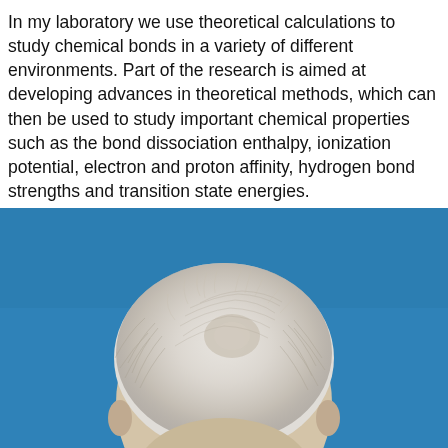In my laboratory we use theoretical calculations to study chemical bonds in a variety of different environments. Part of the research is aimed at developing advances in theoretical methods, which can then be used to study important chemical properties such as the bond dissociation enthalpy, ionization potential, electron and proton affinity, hydrogen bond strengths and transition state energies.
[Figure (photo): Photograph of an elderly man with white/grey hair against a blue background. Only the top of the head is visible in the frame.]